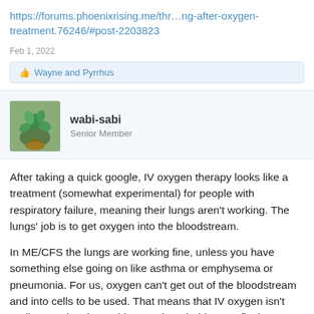https://forums.phoenixrising.me/thr…ng-after-oxygen-treatment.76246/#post-2203823
Feb 1, 2022
👍 Wayne and Pyrrhus
wabi-sabi
Senior Member
After taking a quick google, IV oxygen therapy looks like a treatment (somewhat experimental) for people with respiratory failure, meaning their lungs aren't working. The lungs' job is to get oxygen into the bloodstream.
In ME/CFS the lungs are working fine, unless you have something else going on like asthma or emphysema or pneumonia. For us, oxygen can't get out of the bloodstream and into cells to be used. That means that IV oxygen isn't really targeting the problem, so it probably can't fix the